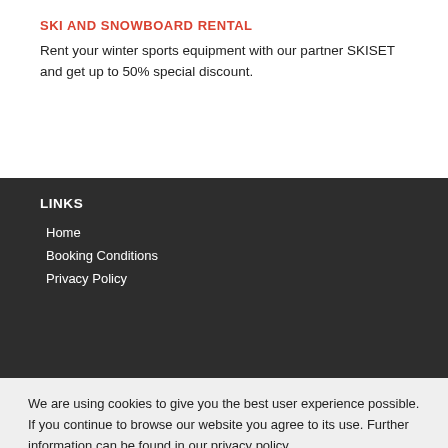SKI AND SNOWBOARD RENTAL
Rent your winter sports equipment with our partner SKISET and get up to 50% special discount.
LINKS
Home
Booking Conditions
Privacy Policy
We are using cookies to give you the best user experience possible. If you continue to browse our website you agree to its use. Further information can be found in our privacy policy.
ACCEPT COOKIES